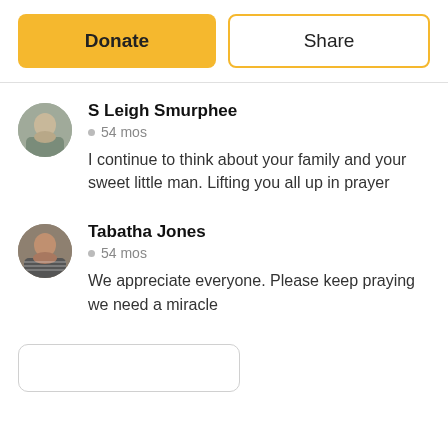Donate
Share
S Leigh Smurphee
54 mos
I continue to think about your family and your sweet little man. Lifting you all up in prayer
Tabatha Jones
54 mos
We appreciate everyone. Please keep praying we need a miracle